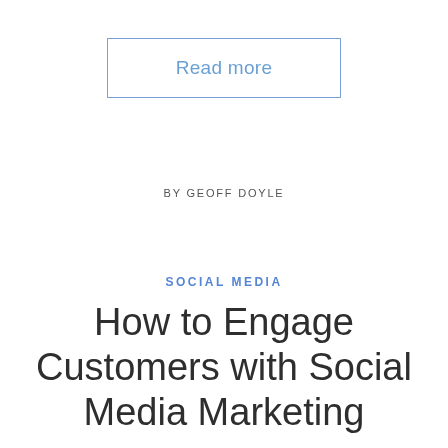Read more
BY GEOFF DOYLE
SOCIAL MEDIA
How to Engage Customers with Social Media Marketing